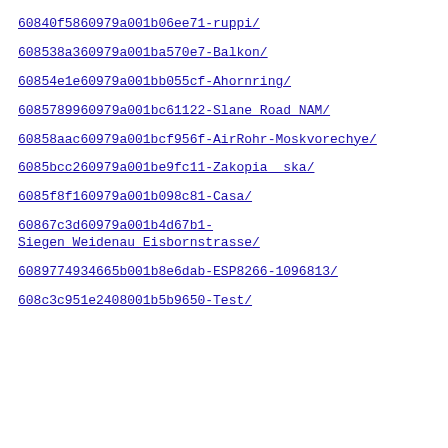60840f5860979a001b06ee71-ruppi/
608538a360979a001ba570e7-Balkon/
60854e1e60979a001bb055cf-Ahornring/
60857899 60979a001bc61122-Slane Road NAM/
60858aac60979a001bcf956f-AirRohr-Moskvorechye/
6085bcc260979a001be9fc11-Zakopia  ska/
6085f8f160979a001b098c81-Casa/
60867c3d60979a001b4d67b1-Siegen Weidenau Eisbornstrasse/
60897749 34665b001b8e6dab-ESP8266-1096813/
608c3c951e2408001b5b9650-Test/